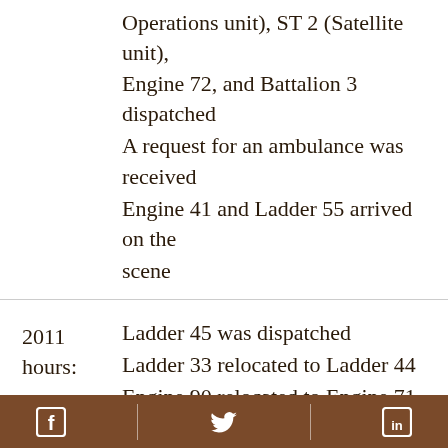Operations unit), ST 2 (Satellite unit), Engine 72, and Battalion 3 dispatched
A request for an ambulance was received
Engine 41 and Ladder 55 arrived on the scene
2011 hours:
Ladder 45 was dispatched
Ladder 33 relocated to Ladder 44
Engine 90 relocated to Engine 71
Rescue 3 arrived on the scene
2012 hours:
Ambulance 14C3 on the scene
2013
Engine 46 arrived on the scene
[Facebook] [Twitter] [LinkedIn]